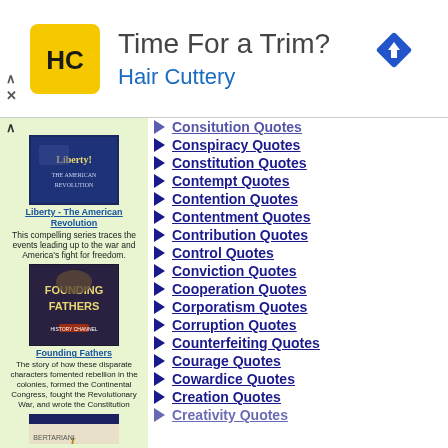[Figure (other): Hair Cuttery advertisement banner with logo, 'Time For a Trim?' text, 'Hair Cuttery' subtitle, and a blue direction-arrow icon]
[Figure (photo): Book cover: Liberty - The American Revolution]
Liberty - The American Revolution
This compelling series traces the events leading up to the war and America's fight for freedom.
[Figure (photo): Book cover: Founding Fathers]
Founding Fathers
The story of how these disparate characters fomented rebellion in the colonies, formed the Continental Congress, fought the Revolutionary War, and wrote the Constitution
[Figure (photo): Book cover: Libertarianism (partially visible)]
Consitution Quotes
Conspiracy Quotes
Constitution Quotes
Contempt Quotes
Contention Quotes
Contentment Quotes
Contribution Quotes
Control Quotes
Conviction Quotes
Cooperation Quotes
Corporatism Quotes
Corruption Quotes
Counterfeiting Quotes
Courage Quotes
Cowardice Quotes
Creation Quotes
Creativity Quotes